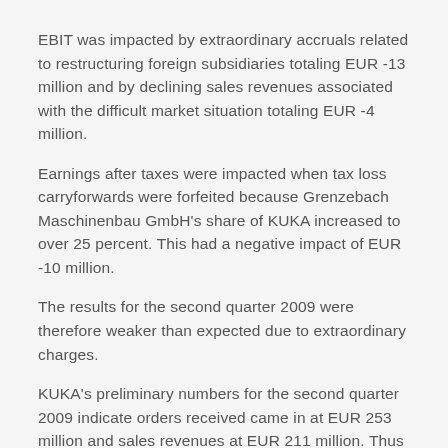EBIT was impacted by extraordinary accruals related to restructuring foreign subsidiaries totaling EUR -13 million and by declining sales revenues associated with the difficult market situation totaling EUR -4 million.
Earnings after taxes were impacted when tax loss carryforwards were forfeited because Grenzebach Maschinenbau GmbH's share of KUKA increased to over 25 percent. This had a negative impact of EUR -10 million.
The results for the second quarter 2009 were therefore weaker than expected due to extraordinary charges.
KUKA's preliminary numbers for the second quarter 2009 indicate orders received came in at EUR 253 million and sales revenues at EUR 211 million. Thus